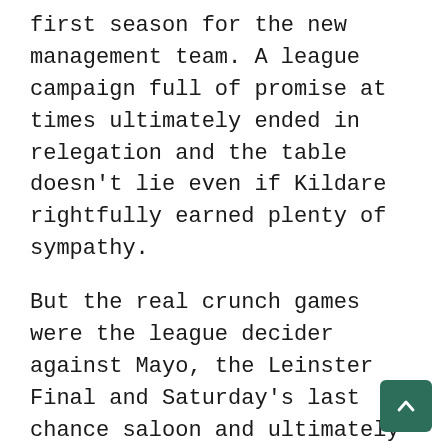first season for the new management team. A league campaign full of promise at times ultimately ended in relegation and the table doesn't lie even if Kildare rightfully earned plenty of sympathy.
But the real crunch games were the league decider against Mayo, the Leinster Final and Saturday's last chance saloon and ultimately Kildare have come up short when the chips were down.
They may have happened, belatedly perhaps, upon a system of play that